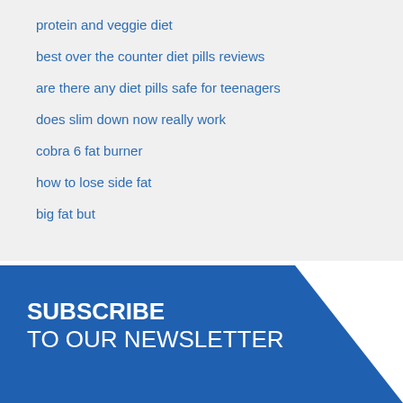protein and veggie diet
best over the counter diet pills reviews
are there any diet pills safe for teenagers
does slim down now really work
cobra 6 fat burner
how to lose side fat
big fat but
SUBSCRIBE TO OUR NEWSLETTER